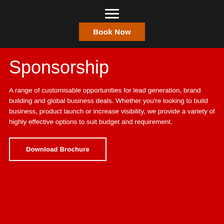≡
Book Now
Sponsorship
A range of customisable opportunities for lead generation, brand building and global business deals. Whether you're looking to build business, product launch or increase visibility, we provide a variety of highly effective options to suit budget and requirement.
Download Brochure